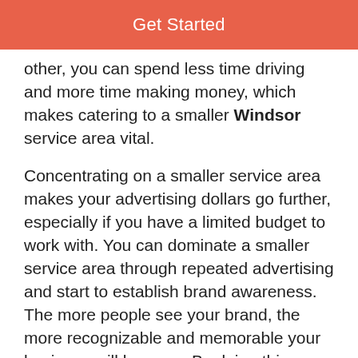[Figure (other): Get Started button bar with coral/salmon background color]
other, you can spend less time driving and more time making money, which makes catering to a smaller Windsor service area vital.
Concentrating on a smaller service area makes your advertising dollars go further, especially if you have a limited budget to work with. You can dominate a smaller service area through repeated advertising and start to establish brand awareness. The more people see your brand, the more recognizable and memorable your business will become. By doing this, your business will become the go-to residential cleaning company for your chosen service area in Windsor.